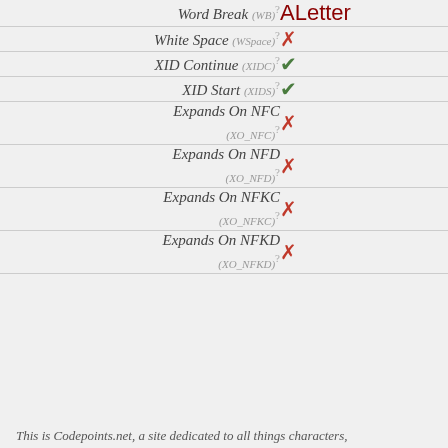| Property | Value |
| --- | --- |
| Word Break (WB) | ALetter |
| White Space (WSpace) | ✗ |
| XID Continue (XIDC) | ✓ |
| XID Start (XIDS) | ✓ |
| Expands On NFC (XO_NFC) | ✗ |
| Expands On NFD (XO_NFD) | ✗ |
| Expands On NFKC (XO_NFKC) | ✗ |
| Expands On NFKD (XO_NFKD) | ✗ |
This is Codepoints.net, a site dedicated to all things characters,